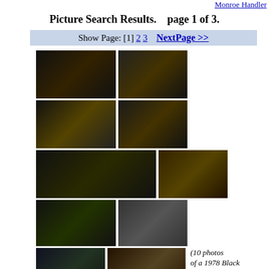Monroe Handler
Picture Search Results.    page 1 of 3.
Show Page: [1] 2 3    NextPage >>
[Figure (photo): 10 photos of a 1978 Black Mustang Cobra II King Cobra Hatchback — exterior, detail, and interior shots]
(10 photos of a 1978 Black Mustang Cobra II King Cobra Hatchback) This 1978 Mustang King Cobra is certainly the "Boss of the Mustang stable" as Ford described it. This King was also the Attitude Of The Week for 8-